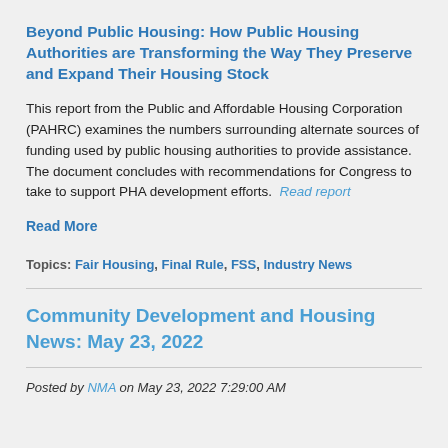Beyond Public Housing: How Public Housing Authorities are Transforming the Way They Preserve and Expand Their Housing Stock
This report from the Public and Affordable Housing Corporation (PAHRC) examines the numbers surrounding alternate sources of funding used by public housing authorities to provide assistance. The document concludes with recommendations for Congress to take to support PHA development efforts. Read report
Read More
Topics: Fair Housing, Final Rule, FSS, Industry News
Community Development and Housing News: May 23, 2022
Posted by NMA on May 23, 2022 7:29:00 AM